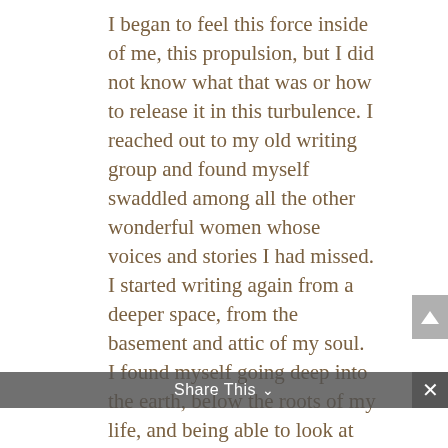I began to feel this force inside of me, this propulsion, but I did not know what that was or how to release it in this turbulence.  I reached out to my old writing group and found myself swaddled among all the other wonderful women whose voices and stories I had missed.  I started writing again from a deeper space, from the basement and attic of my soul.  I found myself going deep into the earth, below the roots of my life, and being able to look at them, touch them and feel the vibration of each and every one of them.  It was writing that helped me to understand them.  I wrote my way to some clarity and found my way back to me. I began to remember all my qualities and strengths, but more importantly, I remembered my passions.  It felt as though I had been swept up in the eye of a tornado and I was sent spinning and twirling, a mere particle that had no control or say in what was happening.  When I
Share This